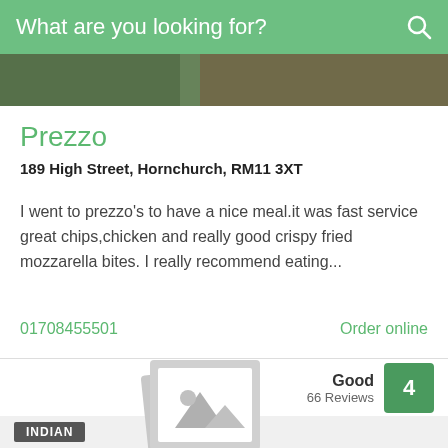What are you looking for?
[Figure (photo): Food photo strip at top of page]
Prezzo
189 High Street, Hornchurch, RM11 3XT
I went to prezzo's to have a nice meal.it was fast service great chips,chicken and really good crispy fried mozzarella bites. I really recommend eating...
01708455501
Order online
Good
66 Reviews
4
INDIAN
[Figure (illustration): No image placeholder icon with stacked photo frames]